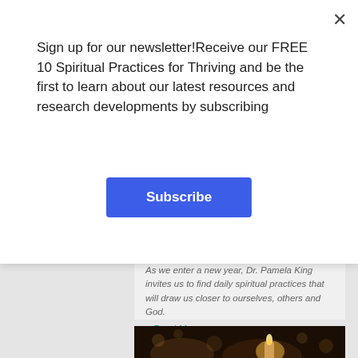Sign up for our newsletter!Receive our FREE 10 Spiritual Practices for Thriving and be the first to learn about our latest resources and research developments by subscribing
[Figure (other): Blue Subscribe button]
As we enter a new year, Dr. Pamela King invites us to find daily spiritual practices that will draw us closer to ourselves, others and God.
> Read More
[Figure (photo): Bokeh photo of candles with warm glowing light against a dark background]